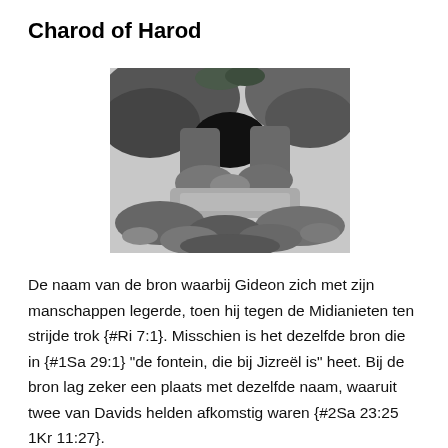Charod of Harod
[Figure (photo): Black and white photograph of a rocky spring or water source, with large boulders framing a cave-like opening at the top, and a natural pool or stream with rocks in the foreground.]
De naam van de bron waarbij Gideon zich met zijn manschappen legerde, toen hij tegen de Midianieten ten strijde trok {#Ri 7:1}. Misschien is het dezelfde bron die in {#1Sa 29:1} “de fontein, die bij Jizreël is” heet. Bij de bron lag zeker een plaats met dezelfde naam, waaruit twee van Davids helden afkomstig waren {#2Sa 23:25 1Kr 11:27}.